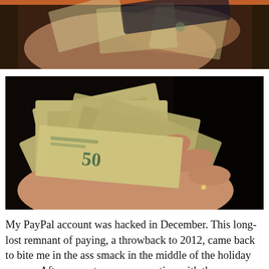[Figure (photo): Close-up photo strip at top showing hands holding cash/money, partial view, dark background]
[Figure (photo): Close-up photograph of hands counting or holding a fan of US dollar bills ($50 bills visible), dark background]
My PayPal account was hacked in December. This long-lost remnant of paying, a throwback to 2012, came back to bite me in the ass smack in the middle of the holiday season. After a courteous conversation with the company, they